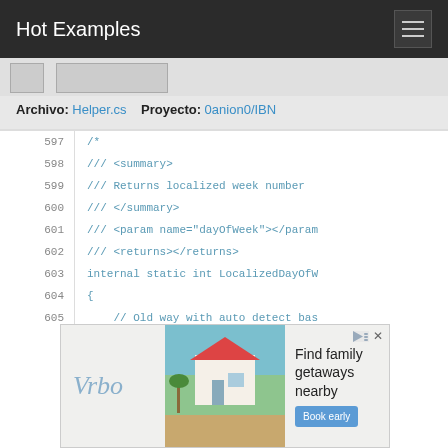Hot Examples
Archivo: Helper.cs   Proyecto: 0anion0/IBN
597
598
599
600
601
602
603
604
605
606
[Figure (screenshot): Vrbo advertisement banner with beach house photo and text 'Find family getaways nearby']